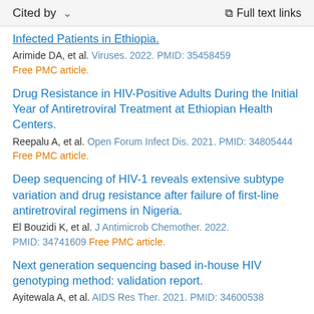Cited by   Full text links
Infected Patients in Ethiopia.
Arimide DA, et al. Viruses. 2022. PMID: 35458459
Free PMC article.
Drug Resistance in HIV-Positive Adults During the Initial Year of Antiretroviral Treatment at Ethiopian Health Centers.
Reepalu A, et al. Open Forum Infect Dis. 2021. PMID: 34805444
Free PMC article.
Deep sequencing of HIV-1 reveals extensive subtype variation and drug resistance after failure of first-line antiretroviral regimens in Nigeria.
El Bouzidi K, et al. J Antimicrob Chemother. 2022. PMID: 34741609 Free PMC article.
Next generation sequencing based in-house HIV genotyping method: validation report.
Ayitewala A, et al. AIDS Res Ther. 2021. PMID: 34600538